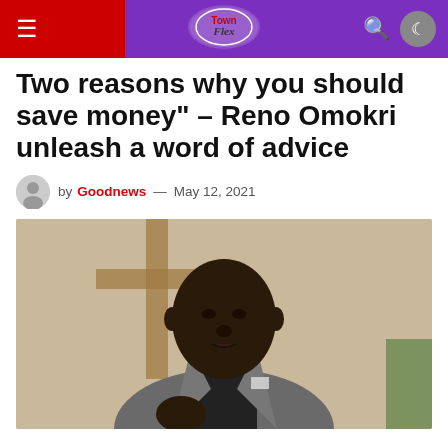TownFlex
Two reasons why you should save money" – Reno Omokri unleash a word of advice
by Goodnews — May 12, 2021
[Figure (photo): A man in a grey blazer speaking, with a wooden cross visible in the background]